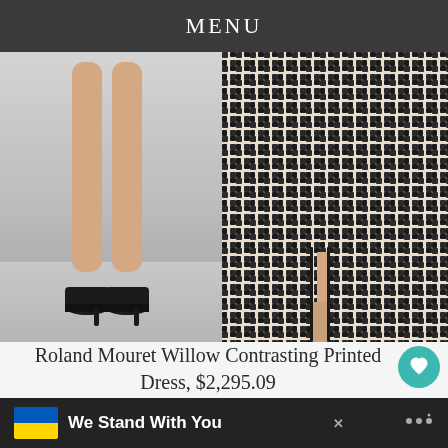MENU
[Figure (photo): Two fashion product photos side by side: left shows legs of a model in black high heels against a grey background; right shows a close-up of a black and white contrasting printed fabric dress.]
Roland Mouret Willow Contrasting Printed Dress, $2,295.09
[Figure (screenshot): Advertisement banner showing orange bold text 'YOUR PRIZE' and 'PUMPKIN' with a Katy Perry 'What's Next' promo overlay on the right side.]
We Stand With You